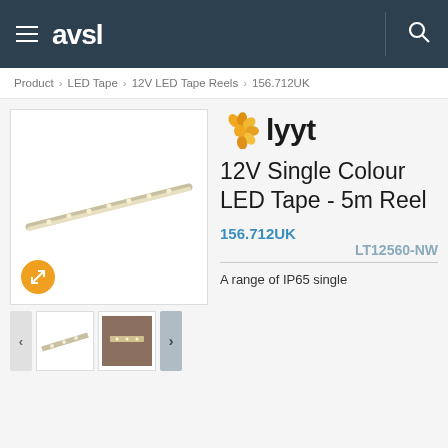avsl
Product > LED Tape > 12V LED Tape Reels > 156.712UK
[Figure (photo): LED tape strip product image on white background, shown diagonally]
[Figure (logo): lyyt brand logo with orange sunflower-like icon and bold black lyyt text]
12V Single Colour LED Tape - 5m Reel
156.712UK
LT12560-NW
A range of IP65 single